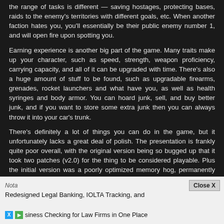the range of tasks is different — saving hostages, protecting bases, raids to the enemy's territories with different goals, etc. When another faction hates you, you'll essentially be their public enemy number 1, and will open fire upon spotting you.
Earning experience is another big part of the game. Many traits make up your character, such as speed, strength, weapon proficiency, carrying capacity, and all of it can be upgraded with time. There's also a huge amount of stuff to be found, such as upgradable firearms, grenades, rocket launchers and what have you, as well as health syringes and body armor. You can hoard junk, sell, and buy better junk, and if you want to store some extra junk then you can always throw it into your car's trunk.
There's definitely a lot of things you can do in the game, but it unfortunately lacks a great deal of polish. The presentation is frankly quite poor overall, with the original version being so bugged up that it took two patches (v2.0) for the thing to be considered playable. Plus the initial version was a poorly optimized memory hog, permanently chugging along at an ungodly pace even if you've met or surpassed the specs. In the end it's a largely flawed, ugly, occasionally brilliant, but too often frustrating piece of work, memorable but for its ambitio...
[Figure (other): Advertisement overlay: 'Nota - Redesigned Legal Banking, IOLTA Tracking, and Business Checking for Law Firms in One Place' with Close X button]